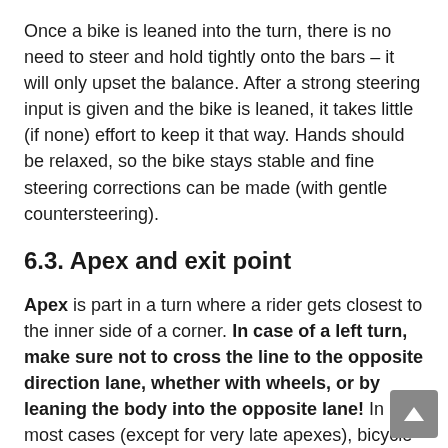Once a bike is leaned into the turn, there is no need to steer and hold tightly onto the bars – it will only upset the balance. After a strong steering input is given and the bike is leaned, it takes little (if none) effort to keep it that way. Hands should be relaxed, so the bike stays stable and fine steering corrections can be made (with gentle countersteering).
6.3. Apex and exit point
Apex is part in a turn where a rider gets closest to the inner side of a corner. In case of a left turn, make sure not to cross the line to the opposite direction lane, whether with wheels, or by leaning the body into the opposite lane! In most cases (except for very late apexes), bicycle will reach it's maximal lean angle (for the given corner) just before, or at the apex point.